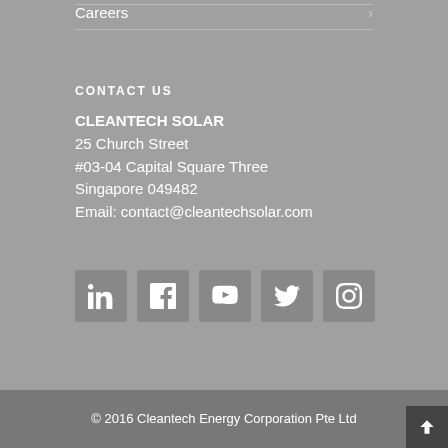Careers
CONTACT US
CLEANTECH SOLAR
25 Church Street
#03-04 Capital Square Three
Singapore 049482
Email: contact@cleantechsolar.com
[Figure (infographic): Five social media icon buttons: LinkedIn, Facebook, YouTube, Twitter, Instagram]
© 2016 Cleantech Energy Corporation Pte Ltd